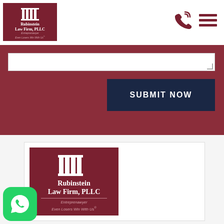[Figure (logo): Rubinstein Law Firm, PLLC logo - white columns icon on dark red background with text 'Rubinstein Law Firm, PLLC', taglines 'Entreprenawyer' and 'Even Losers Win With Us']
[Figure (other): Phone icon (dark red) and hamburger menu icon (dark red) in page header]
[Figure (screenshot): Red banner section with white text input area and a dark navy 'SUBMIT NOW' button]
[Figure (logo): Card containing large Rubinstein Law Firm, PLLC logo on dark red background with columns icon, firm name, 'Entreprenawyer', 'Even Losers Win With Us']
[Figure (other): WhatsApp chat button (green rounded square) in bottom left corner]